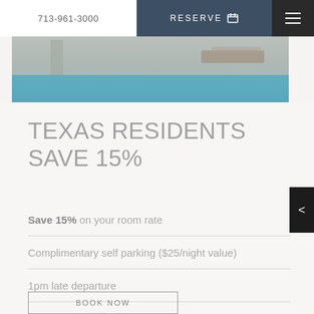713-961-3000
RESERVE
[Figure (photo): Outdoor pool area with concrete deck and lounge furniture]
TEXAS RESIDENTS SAVE 15%
Save 15% on your room rate
Complimentary self parking ($25/night value)
1pm late departure
BOOK NOW